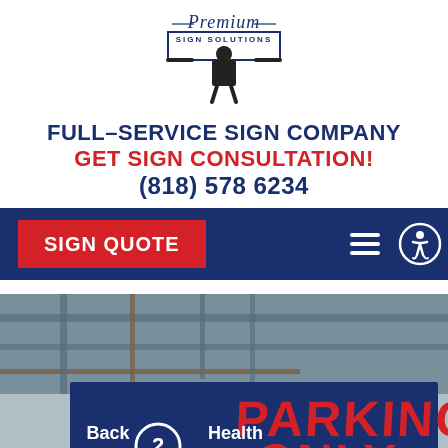[Figure (logo): Premium Sign Solutions logo: script 'Premium' text above a rectangular border reading 'SIGN SOLUTIONS', with a silhouette of a suited person holding up the sign box]
FULL-SERVICE SIGN COMPANY
GET SIGN CONSULTATION!
(818) 578 6234
[Figure (screenshot): Dark blue navigation bar with a red 'SIGN QUOTE' button on the left, hamburger menu icon, and accessibility icon on the right]
[Figure (photo): Photo of outdoor parking signs on a building structure. Shows 'PARKING ONLY' in large red text on a dark blue sign, and 'Back 2Health Physical Therapy' sign below. Text includes 'Unauthorized vehicles will be towed at Vehicle Owner's Expense. CVC 22651']